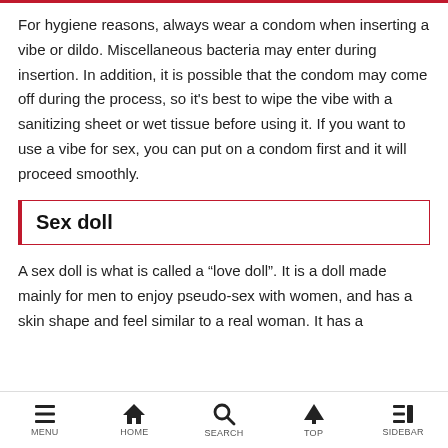For hygiene reasons, always wear a condom when inserting a vibe or dildo. Miscellaneous bacteria may enter during insertion. In addition, it is possible that the condom may come off during the process, so it's best to wipe the vibe with a sanitizing sheet or wet tissue before using it. If you want to use a vibe for sex, you can put on a condom first and it will proceed smoothly.
Sex doll
A sex doll is what is called a “love doll”. It is a doll made mainly for men to enjoy pseudo-sex with women, and has a skin shape and feel similar to a real woman. It has a
MENU  HOME  search  TOP  SIDEBAR